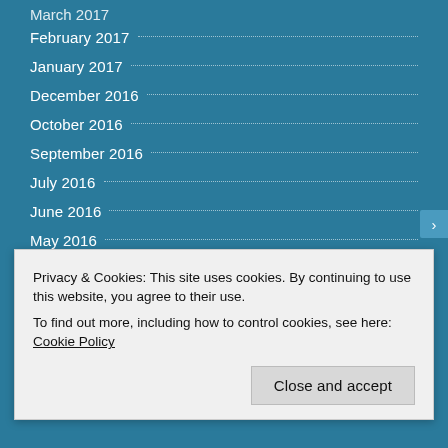March 2017
February 2017
January 2017
December 2016
October 2016
September 2016
July 2016
June 2016
May 2016
April 2016
March 2016
Privacy & Cookies: This site uses cookies. By continuing to use this website, you agree to their use.
To find out more, including how to control cookies, see here: Cookie Policy